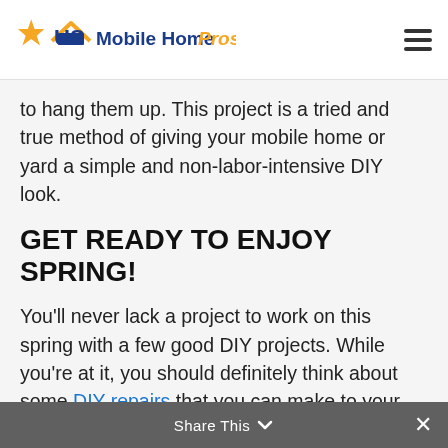US Mobile Home Pros
to hang them up. This project is a tried and true method of giving your mobile home or yard a simple and non-labor-intensive DIY look.
GET READY TO ENJOY SPRING!
You'll never lack a project to work on this spring with a few good DIY projects. While you're at it, you should definitely think about some DIY repairs that you can make to your mobile home this year. After all, a well-